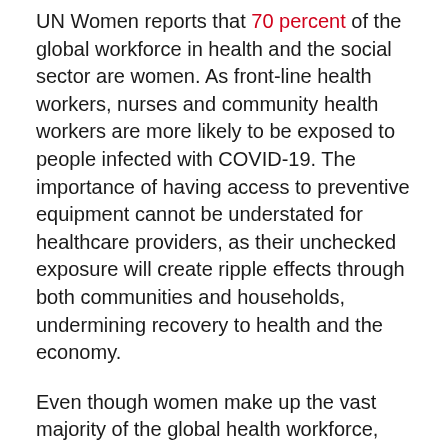UN Women reports that 70 percent of the global workforce in health and the social sector are women. As front-line health workers, nurses and community health workers are more likely to be exposed to people infected with COVID-19. The importance of having access to preventive equipment cannot be understated for healthcare providers, as their unchecked exposure will create ripple effects through both communities and households, undermining recovery to health and the economy.
Even though women make up the vast majority of the global health workforce, women are vastly underrepresented in global health security, making up just 20 percent of the WHO Emergency Committee on COVID-19 and only 10 percent of the U.S. Coronavirus Task Force. This